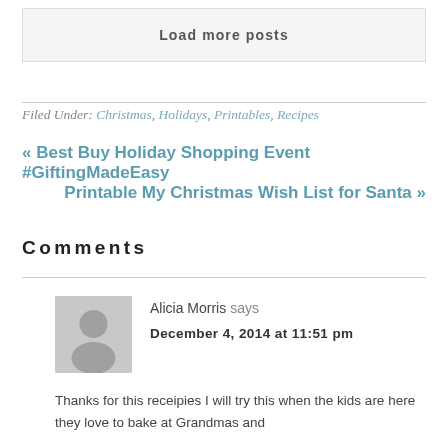Load more posts
Filed Under: Christmas, Holidays, Printables, Recipes
« Best Buy Holiday Shopping Event #GiftingMadeEasy
Printable My Christmas Wish List for Santa »
Comments
Alicia Morris says
December 4, 2014 at 11:51 pm
Thanks for this receipies I will try this when the kids are here they love to bake at Grandmas and they always make lots for the ones of baking